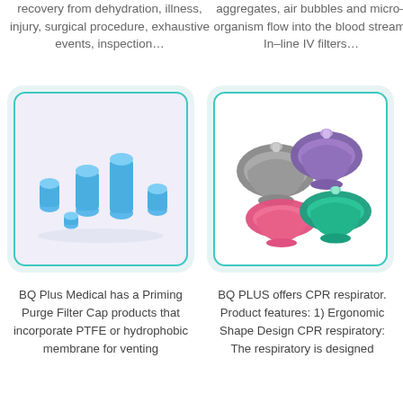recovery from dehydration, illness, injury, surgical procedure, exhaustive events, inspection…
aggregates, air bubbles and micro-organism flow into the blood stream. In-line IV filters…
[Figure (photo): Blue cylindrical plastic priming purge filter cap components on white/light purple background]
[Figure (photo): Four CPR respirator face masks in grey, purple, pink, and teal/green colors on white background]
BQ Plus Medical has a Priming Purge Filter Cap products that incorporate PTFE or hydrophobic membrane for venting
BQ PLUS offers CPR respirator. Product features: 1) Ergonomic Shape Design CPR respiratory: The respiratory is designed